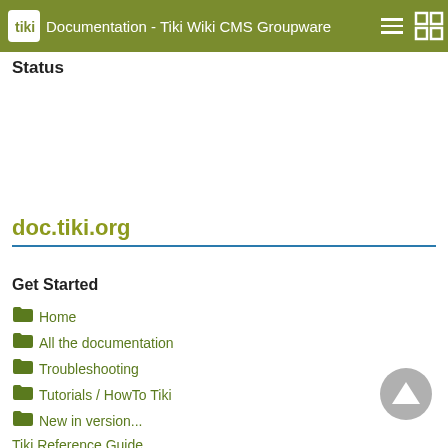Documentation - Tiki Wiki CMS Groupware
Status
doc.tiki.org
Get Started
Home
All the documentation
Troubleshooting
Tutorials / HowTo Tiki
New in version...
Tiki Reference Guide
Tiki Installation Guide
Admin Guide